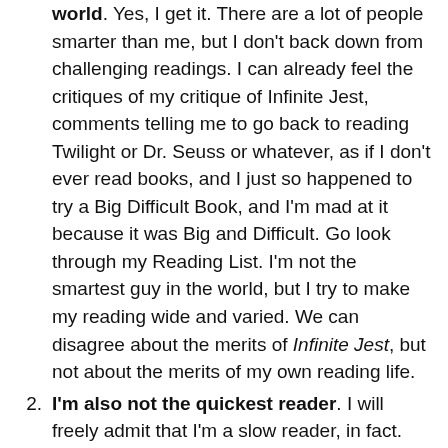world. Yes, I get it. There are a lot of people smarter than me, but I don't back down from challenging readings. I can already feel the critiques of my critique of Infinite Jest, comments telling me to go back to reading Twilight or Dr. Seuss or whatever, as if I don't ever read books, and I just so happened to try a Big Difficult Book, and I'm mad at it because it was Big and Difficult. Go look through my Reading List. I'm not the smartest guy in the world, but I try to make my reading wide and varied. We can disagree about the merits of Infinite Jest, but not about the merits of my own reading life.
I'm also not the quickest reader. I will freely admit that I'm a slow reader, in fact. That it would take me an hour to get through ten pages of Infinite Jest. And I will freely admit that this sort of thing contributed to making me an even angrier reader. It's as if David Foster